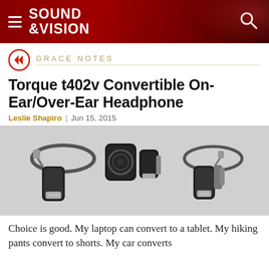SOUND &VISION
GRACE NOTES
Torque t402v Convertible On-Ear/Over-Ear Headphone
Leslie Shapiro | Jun 15, 2015
[Figure (photo): Three views of the Torque t402v headphone: left showing full headphone with ear cup, center showing detached ear cup components, right showing assembled headphone from different angle. All in black and silver colorway.]
Choice is good. My laptop can convert to a tablet. My hiking pants convert to shorts. My car converts